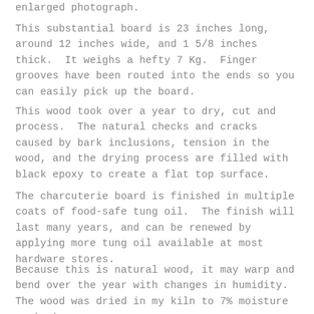enlarged photograph.
This substantial board is 23 inches long, around 12 inches wide, and 1 5/8 inches thick.  It weighs a hefty 7 Kg.  Finger grooves have been routed into the ends so you can easily pick up the board.
This wood took over a year to dry, cut and process.  The natural checks and cracks caused by bark inclusions, tension in the wood, and the drying process are filled with black epoxy to create a flat top surface.
The charcuterie board is finished in multiple coats of food-safe tung oil.  The finish will last many years, and can be renewed by applying more tung oil available at most hardware stores.
Because this is natural wood, it may warp and bend over the year with changes in humidity.  The wood was dried in my kiln to 7% moisture content, so any